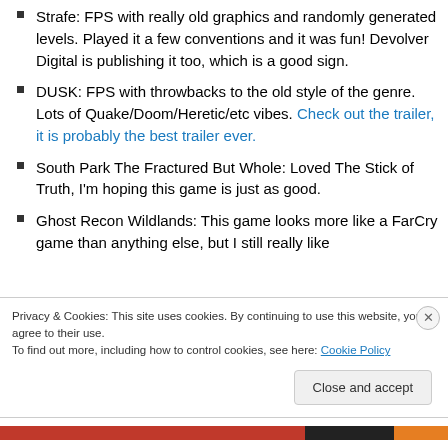Strafe: FPS with really old graphics and randomly generated levels. Played it a few conventions and it was fun! Devolver Digital is publishing it too, which is a good sign.
DUSK: FPS with throwbacks to the old style of the genre. Lots of Quake/Doom/Heretic/etc vibes. Check out the trailer, it is probably the best trailer ever.
South Park The Fractured But Whole: Loved The Stick of Truth, I'm hoping this game is just as good.
Ghost Recon Wildlands: This game looks more like a FarCry game than anything else, but I still really like
Privacy & Cookies: This site uses cookies. By continuing to use this website, you agree to their use.
To find out more, including how to control cookies, see here: Cookie Policy